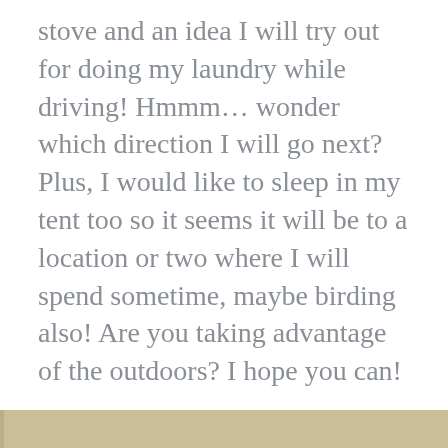stove and an idea I will try out for doing my laundry while driving! Hmmm… wonder which direction I will go next? Plus, I would like to sleep in my tent too so it seems it will be to a location or two where I will spend sometime, maybe birding also! Are you taking advantage of the outdoors? I hope you can!
Conversion of Honda